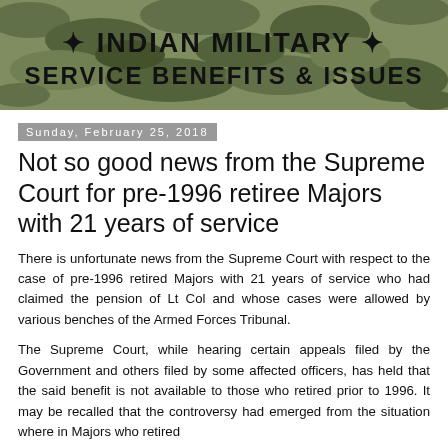[Figure (logo): Indian Military Service Benefits & Issues banner with camouflage background and bold black text]
Sunday, February 25, 2018
Not so good news from the Supreme Court for pre-1996 retiree Majors with 21 years of service
There is unfortunate news from the Supreme Court with respect to the case of pre-1996 retired Majors with 21 years of service who had claimed the pension of Lt Col and whose cases were allowed by various benches of the Armed Forces Tribunal.
The Supreme Court, while hearing certain appeals filed by the Government and others filed by some affected officers, has held that the said benefit is not available to those who retired prior to 1996. It may be recalled that the controversy had emerged from the situation where in Majors who retired